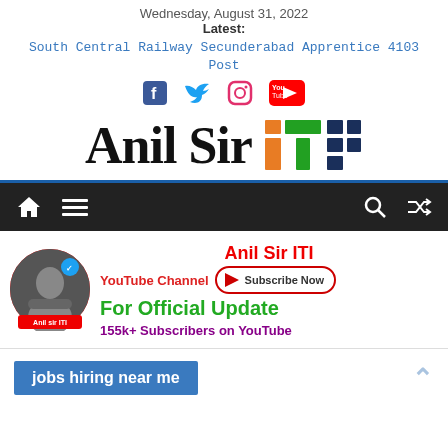Wednesday, August 31, 2022
Latest:
South Central Railway Secunderabad Apprentice 4103 Post
[Figure (logo): Social media icons: Facebook, Twitter, Instagram, YouTube]
[Figure (logo): Anil Sir ITI logo with colorful ITI block letters]
[Figure (infographic): Navigation bar with home icon, hamburger menu, search and shuffle icons on dark background]
[Figure (infographic): Anil Sir ITI YouTube channel promo banner with avatar, subscribe button, For Official Update text, 155k+ Subscribers on YouTube]
jobs hiring near me